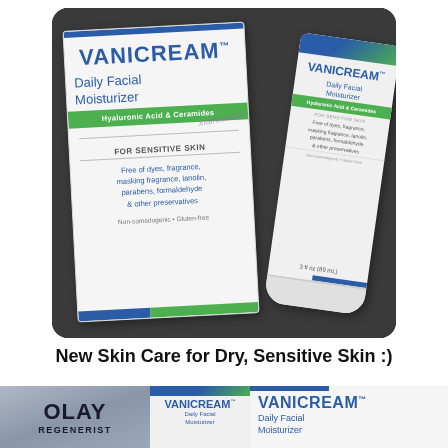[Figure (photo): Photo of Vanicream Daily Facial Moisturizer product box and tube side by side on a dark surface. Box shows brand name VANICREAM, product name 'Daily Facial Moisturizer', green stripe with 'Hyaluronic Acid & Ceramides', 'FOR SENSITIVE SKIN' text, 'Free of dyes, fragrance, masking fragrance, lanolin, parabens, formaldehyde & other preservatives', and 'Non-comedogenic • Gluten-free'. Tube shows same branding with '3 fl oz (89 mL)'.]
New Skin Care for Dry, Sensitive Skin :)
[Figure (photo): Bottom cropped photo showing three products: Olay Regenerist tube on left (silver), a Vanicream tube in middle, and Vanicream Daily Facial Moisturizer box on right.]